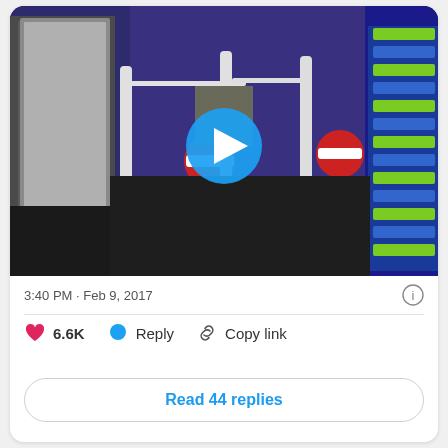[Figure (screenshot): A video thumbnail showing a store entrance with turnstile barriers, white poles, red no-entry signs, blue walls, dark floor, and stacked green-and-blue shopping baskets on the right. A blue circular play button is overlaid in the center.]
3:40 PM · Feb 9, 2017
6.6K   Reply   Copy link
Read 44 replies